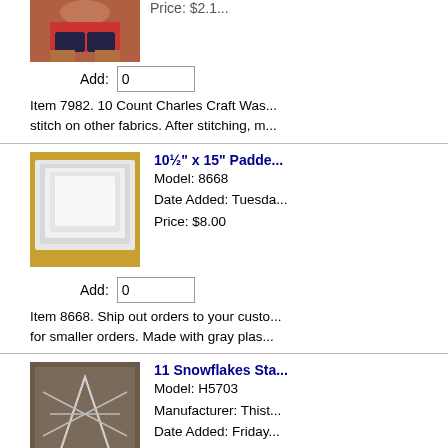[Figure (photo): Partial image of a person sitting, wearing red top]
Add: 0
Item 7982. 10 Count Charles Charles Craft Was... stitch on other fabrics. After stitching, m...
[Figure (photo): Image of padded mailer envelopes on yellow background]
10½" x 15" Padded...
Model: 8668
Date Added: Tuesda...
Price: $8.00
Add: 0
Item 8668. Ship out orders to your custo... for smaller orders. Made with gray plas...
[Figure (photo): Image of snowflakes star product packaging on dark background]
11 Snowflakes Sta...
Model: H5703
Manufacturer: Thist...
Date Added: Friday...
Price: $7.10
Add: 0